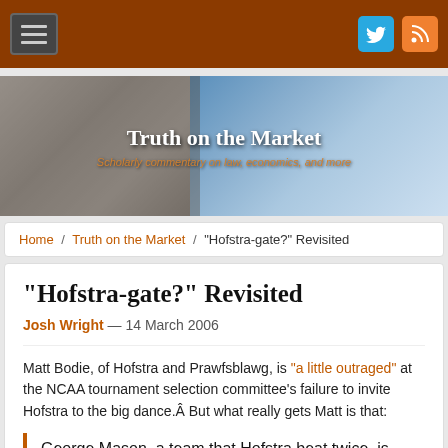Truth on the Market — Scholarly commentary on law, economics, and more
[Figure (screenshot): Website banner image with stone statue on left and blooming tree on right, with site title 'Truth on the Market' and subtitle 'Scholarly commentary on law, economics, and more']
Home / Truth on the Market / "Hofstra-gate?" Revisited
"Hofstra-gate?" Revisited
Josh Wright — 14 March 2006
Matt Bodie, of Hofstra and Prawfsblawg, is "a little outraged" at the NCAA tournament selection committee's failure to invite Hofstra to the big dance.Â  But what really gets Matt is that:
George Mason, a team that Hofstra beat twice, is going instead.Â  George Mason had a slightly tougher out of conference schedule, but it has